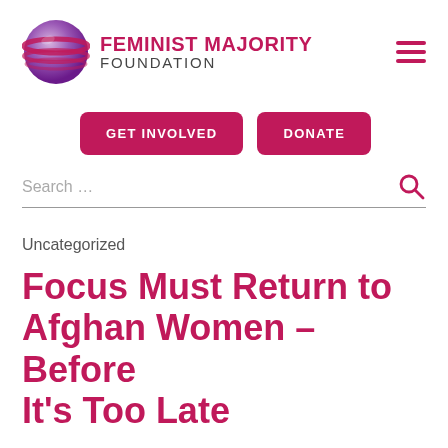[Figure (logo): Feminist Majority Foundation logo with purple globe and organization name]
GET INVOLVED
DONATE
Search …
Uncategorized
Focus Must Return to Afghan Women – Before It's Too Late